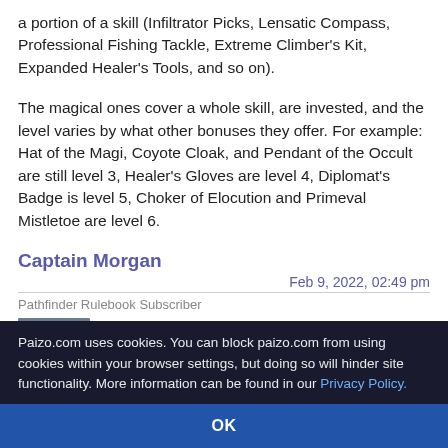a portion of a skill (Infiltrator Picks, Lensatic Compass, Professional Fishing Tackle, Extreme Climber's Kit, Expanded Healer's Tools, and so on).
The magical ones cover a whole skill, are invested, and the level varies by what other bonuses they offer. For example: Hat of the Magi, Coyote Cloak, and Pendant of the Occult are still level 3, Healer's Gloves are level 4, Diplomat's Badge is level 5, Choker of Elocution and Primeval Mistletoe are level 6.
Captain Morgan
Feb 9, 2022, 02:49 pm
Pathfinder Rulebook Subscriber
[Figure (illustration): Avatar image, fantasy character artwork in blue/grey tones]
One easy way is do it +1 item bonus plus
Paizo.com uses cookies. You can block paizo.com from using cookies within your browser settings, but doing so will hinder site functionality. More information can be found in our Privacy Policy.
OK